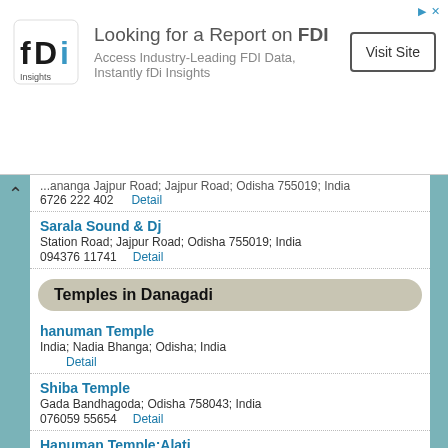[Figure (logo): fDi Insights logo — stylized letters fDi with 'Insights' below]
Looking for a Report on FDI
Access Industry-Leading FDI Data, Instantly fDi Insights
Visit Site
...ananga Jajpur Road; Jajpur Road; Odisha 755019; India
6726 222 402    Detail
Sarala Sound & Dj
Station Road; Jajpur Road; Odisha 755019; India
094376 11741    Detail
Temples in Danagadi
hanuman Temple
India; Nadia Bhanga; Odisha; India
Detail
Shiba Temple
Gada Bandhagoda; Odisha 758043; India
076059 55654    Detail
Hanuman Temple;Alati
Alati; Odisha 758043; India
091789 56962    Detail
Sairam Mandir;Alati